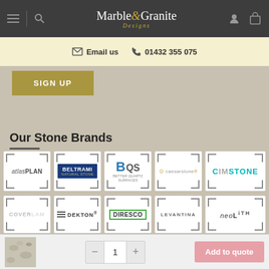Marble & Granite Designs - navigation bar with hamburger menu, search, logo, user and cart icons
Email us  01432 355 075
SIGN UP
Our Stone Brands
[Figure (logo): atlasplan logo]
[Figure (logo): BELTRAMI NATURAL STONE logo]
[Figure (logo): BQS Better Quartz Surfaces logo]
[Figure (logo): caesarstone logo]
[Figure (logo): CIMSTONE logo]
[Figure (logo): COVERLAM logo]
[Figure (logo): DEKTON logo]
[Figure (logo): DIRESCO logo]
[Figure (logo): LEVANTINA logo]
[Figure (logo): NEOLITH logo]
Add to quote - quantity selector with minus, 1, plus buttons and Add to quote button